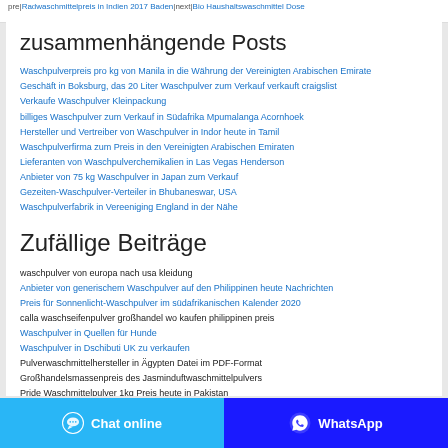pre|Radwaschmittelpreis in Indien 2017 Baden|next|Bio Haushaltswaschmittel Dose
zusammenhängende Posts
Waschpulverpreis pro kg von Manila in die Währung der Vereinigten Arabischen Emirate
Geschäft in Boksburg, das 20 Liter Waschpulver zum Verkauf verkauft craigslist
Verkaufe Waschpulver Kleinpackung
billiges Waschpulver zum Verkauf in Südafrika Mpumalanga Acornhoek
Hersteller und Vertreiber von Waschpulver in Indor heute in Tamil
Waschpulverfirma zum Preis in den Vereinigten Arabischen Emiraten
Lieferanten von Waschpulverchemikalien in Las Vegas Henderson
Anbieter von 75 kg Waschpulver in Japan zum Verkauf
Gezeiten-Waschpulver-Verteiler in Bhubaneswar, USA
Waschpulverfabrik in Vereeniging England in der Nähe
Zufällige Beiträge
waschpulver von europa nach usa kleidung
Anbieter von generischem Waschpulver auf den Philippinen heute Nachrichten
Preis für Sonnenlicht-Waschpulver im südafrikanischen Kalender 2020
calla waschseifenpulver großhandel wo kaufen philippinen preis
Waschpulver in Quellen für Hunde
Waschpulver in Dschibuti UK zu verkaufen
Pulverwaschmittelhersteller in Ägypten Datei im PDF-Format
Großhandelsmassenpreis des Jasminduftwaschmittelpulvers
Pride Waschmittelpulver 1kg Preis heute in Pakistan
kaufen bio zip Orange Pulverwaschmittel 2,5 kg 1 g
Chat online | WhatsApp